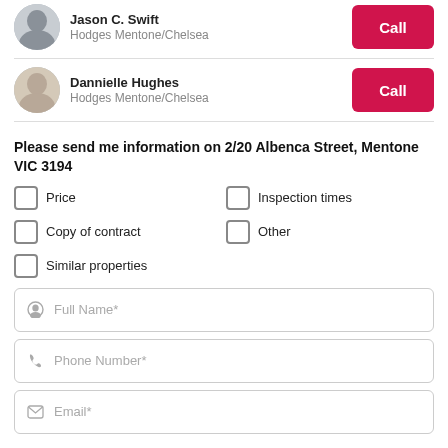Jason C. Swift
Hodges Mentone/Chelsea
Dannielle Hughes
Hodges Mentone/Chelsea
Please send me information on 2/20 Albenca Street, Mentone VIC 3194
Price
Inspection times
Copy of contract
Other
Similar properties
Full Name*
Phone Number*
Email*